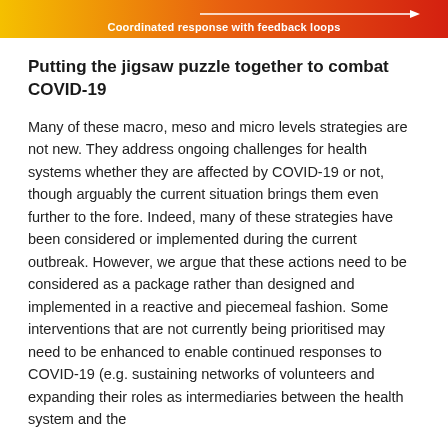[Figure (infographic): Horizontal gradient banner from yellow-orange to deep red with the label 'Coordinated response with feedback loops' in white bold text at the bottom center, with an arrow pointing right.]
Putting the jigsaw puzzle together to combat COVID-19
Many of these macro, meso and micro levels strategies are not new. They address ongoing challenges for health systems whether they are affected by COVID-19 or not, though arguably the current situation brings them even further to the fore. Indeed, many of these strategies have been considered or implemented during the current outbreak. However, we argue that these actions need to be considered as a package rather than designed and implemented in a reactive and piecemeal fashion. Some interventions that are not currently being prioritised may need to be enhanced to enable continued responses to COVID-19 (e.g. sustaining networks of volunteers and expanding their roles as intermediaries between the health system and the